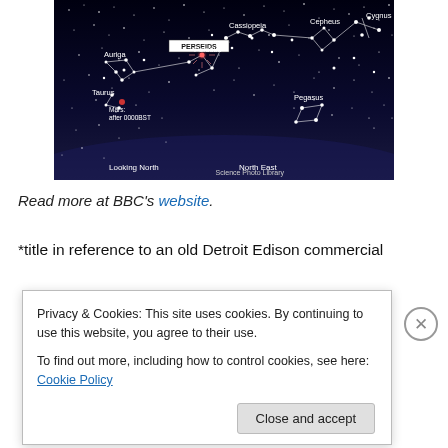[Figure (photo): Star map showing constellations including Perseids, Auriga, Perseus, Taurus, Mars, Cassiopeia, Cepheus, Cygnus, Pegasus. Looking North / North East. Science Photo Library.]
Read more at BBC's website.
*title in reference to an old Detroit Edison commercial
Privacy & Cookies: This site uses cookies. By continuing to use this website, you agree to their use.
To find out more, including how to control cookies, see here: Cookie Policy
Close and accept